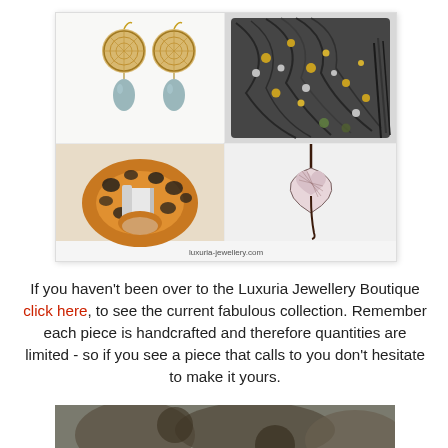[Figure (photo): Collage of four jewellery items: top-left pair of gold filigree disc earrings with aqua teardrop stones, top-right bundle of multi-strand bead necklaces in dark and gold tones, bottom-left leopard-print chunky ring with silver band, bottom-right pink heart-shaped pendant on dark cord. Watermark: luxuria-jewellery.com]
If you haven't been over to the Luxuria Jewellery Boutique click here, to see the current fabulous collection. Remember each piece is handcrafted and therefore quantities are limited - so if you see a piece that calls to you don't hesitate to make it yours.
[Figure (photo): Partial view of another jewellery item (bottom of page, cropped).]